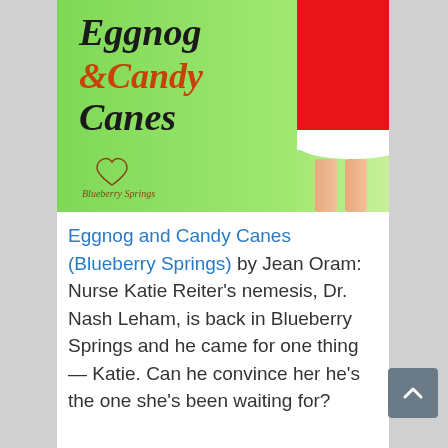[Figure (illustration): Book cover for 'Eggnog & Candy Canes (Blueberry Springs)' showing decorative script title text on a green background with a woman in a red and white Santa-style dress. A heart logo with 'Blueberry Springs' text appears in the lower left.]
Eggnog and Candy Canes (Blueberry Springs) by Jean Oram: Nurse Katie Reiter's nemesis, Dr. Nash Leham, is back in Blueberry Springs and he came for one thing — Katie. Can he convince her he's the one she's been waiting for?